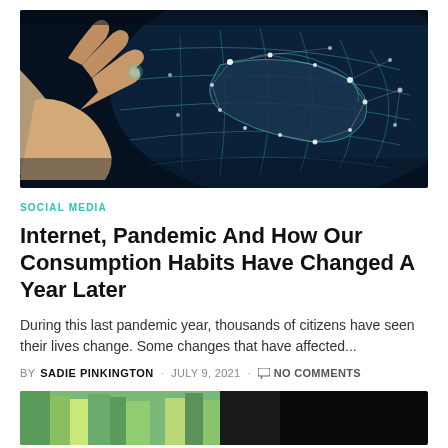[Figure (photo): A hand touching a glowing digital globe with network connections and white dots against a dark blue background]
SOCIAL MEDIA
Internet, Pandemic And How Our Consumption Habits Have Changed A Year Later
During this last pandemic year, thousands of citizens have seen their lives change. Some changes that have affected...
BY SADIE PINKINGTON · JULY 9, 2021 · NO COMMENTS
[Figure (photo): Partial photo visible at bottom of page, appears to show books or colorful objects]